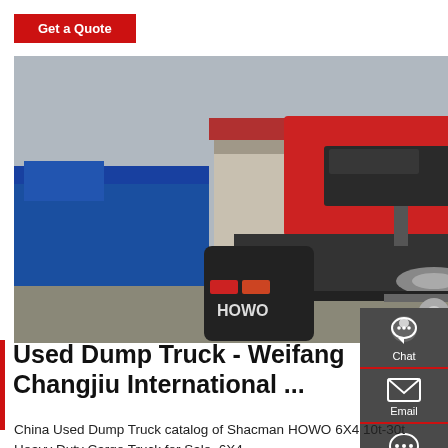Get a Quote
[Figure (photo): Rear view of a red HOWO dump truck/tractor unit parked in a truck yard, with blue trucks and warehouse building visible in the background. HOWO branding visible on mudflaps.]
Used Dump Truck - Weifang Changjiu International ...
China Used Dump Truck catalog of Shacman HOWO 6X4 10t-30t Heavy Duty Cargo Truck for Sale, 6X4